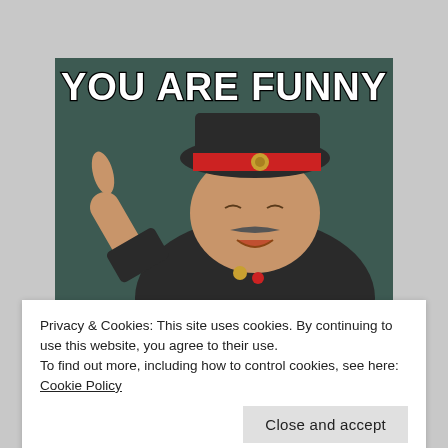[Figure (photo): Internet meme image showing a man in a Soviet military uniform with red-banded cap, pointing finger upward, smiling. Bold white Impact-font text overlay reads 'YOU ARE FUNNY' at the top.]
Privacy & Cookies: This site uses cookies. By continuing to use this website, you agree to their use.
To find out more, including how to control cookies, see here: Cookie Policy
Close and accept
[Figure (photo): Bottom strip of another meme image with large bold white Impact-font text, partially visible, reading something like 'NOW GO TO GULAG']